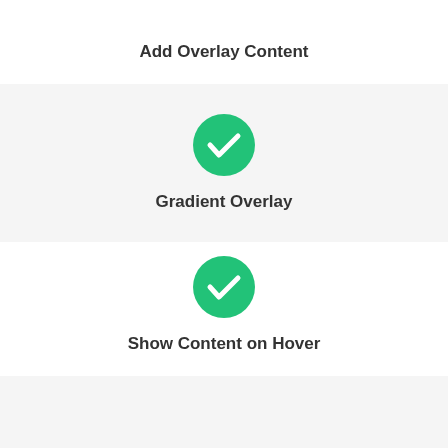[Figure (illustration): Green circle with white checkmark icon (partially visible at top)]
Add Overlay Content
[Figure (illustration): Green circle with white checkmark icon]
Gradient Overlay
[Figure (illustration): Green circle with white checkmark icon]
Show Content on Hover